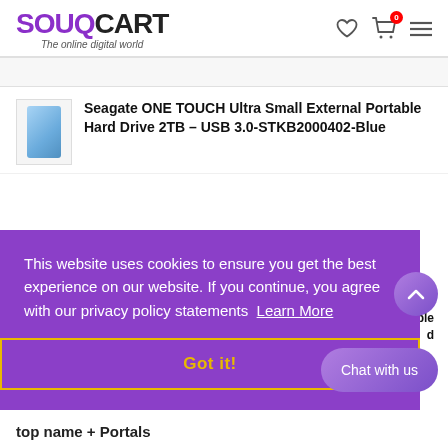SOUQCART - The online digital world
[Figure (screenshot): Product thumbnail image of Seagate portable hard drive (blue color)]
Seagate ONE TOUCH Ultra Small External Portable Hard Drive 2TB – USB 3.0-STKB2000402-Blue
This website uses cookies to ensure you get the best experience on our website. If you continue, you agree with our privacy policy statements  Learn More
Got it!
Chat with us